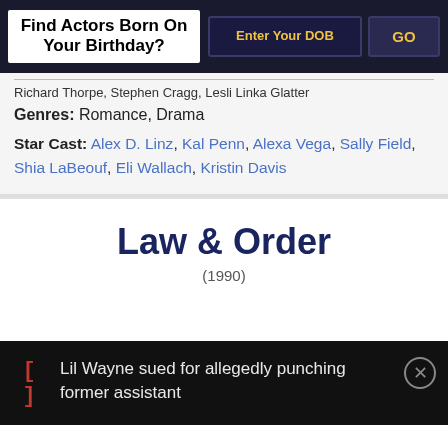Find Actors Born On Your Birthday? | Enter Your DOB | GO
Richard Thorpe, Stephen Cragg, Lesli Linka Glatter
Genres: Romance, Drama
Star Cast: Alex D. Linz, Kal Penn, Alexa Vega, Sally Field, Shia LaBeouf, Eli Wallach, Kristin Davis
Law & Order
(1990)
Lil Wayne sued for allegedly punching former assistant